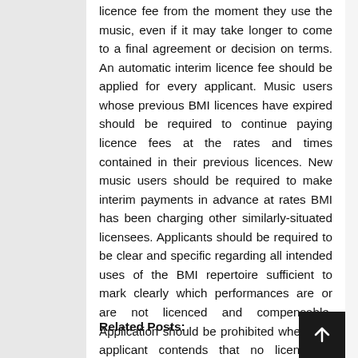licence fee from the moment they use the music, even if it may take longer to come to a final agreement or decision on terms. An automatic interim licence fee should be applied for every applicant. Music users whose previous BMI licences have expired should be required to continue paying licence fees at the rates and times contained in their previous licences. New music users should be required to make interim payments in advance at rates BMI has been charging other similarly-situated licensees. Applicants should be required to be clear and specific regarding all intended uses of the BMI repertoire sufficient to mark clearly which performances are or are not licenced and compensable. Application should be prohibited where the applicant contends that no licence is required.
Related Posts: